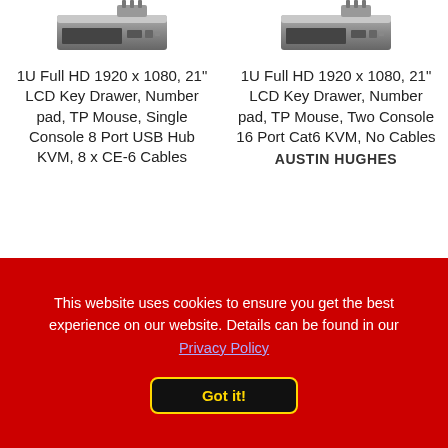[Figure (photo): Product photo of 1U Full HD LCD Key Drawer KVM switch device, gray metallic, viewed from front-top angle]
1U Full HD 1920 x 1080, 21" LCD Key Drawer, Number pad, TP Mouse, Single Console 8 Port USB Hub KVM, 8 x CE-6 Cables
[Figure (photo): Product photo of 1U Full HD LCD Key Drawer KVM switch device, gray metallic, viewed from front-top angle]
1U Full HD 1920 x 1080, 21" LCD Key Drawer, Number pad, TP Mouse, Two Console 16 Port Cat6 KVM, No Cables
AUSTIN HUGHES
This website uses cookies to ensure you get the best experience on our website. Details can be found in our Privacy Policy
Got it!